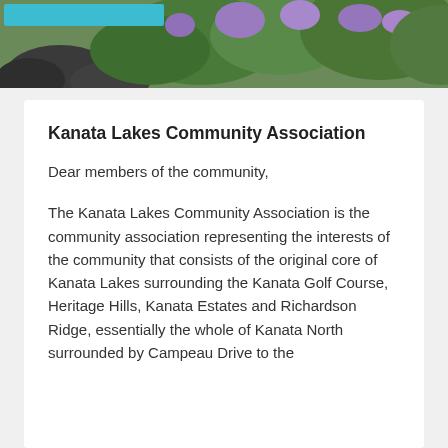[Figure (photo): Outdoor photo banner showing rocks and purple flowering shrubs/plants with green foliage against a natural background. A teal/cyan colored bar is visible in the upper left corner of the image.]
Kanata Lakes Community Association
Dear members of the community,
The Kanata Lakes Community Association is the community association representing the interests of the community that consists of the original core of Kanata Lakes surrounding the Kanata Golf Course, Heritage Hills, Kanata Estates and Richardson Ridge, essentially the whole of Kanata North surrounded by Campeau Drive to the